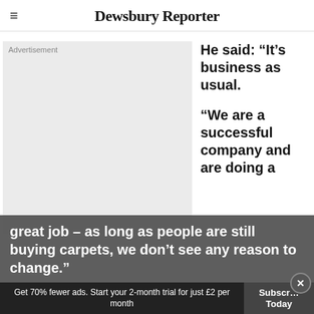Dewsbury Reporter
[Figure (other): Advertisement placeholder block (grey rectangle)]
He said: “It’s business as usual.

“We are a successful company and are doing a great job – as long as people are still buying carpets, we don’t see any reason to change.”
Get 70% fewer ads. Start your 2-month trial for just £2 per month
Subscribe Today